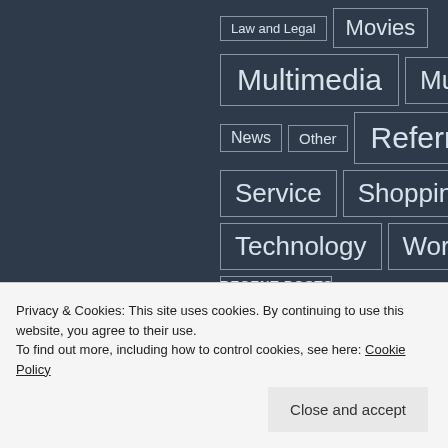Law and Legal
Movies
Multimedia
Music
News
Other
Referral
Service
Shopping
Technology
Work
World
RECENT POSTS
Speak Your Quirky Vibe With The Cool T-
Privacy & Cookies: This site uses cookies. By continuing to use this website, you agree to their use.
To find out more, including how to control cookies, see here: Cookie Policy